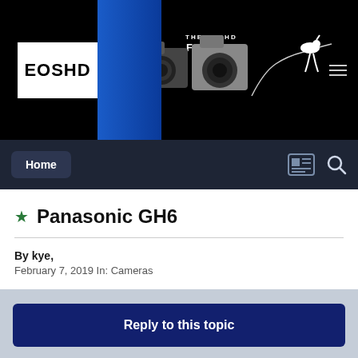[Figure (screenshot): EOSHD Forum website header banner with logo, camera images, film strip and horse silhouette on black background]
Home
Panasonic GH6
By kye, February 7, 2019 In: Cameras
Reply to this topic
« PREV  Page 1 of 76  NEXT »